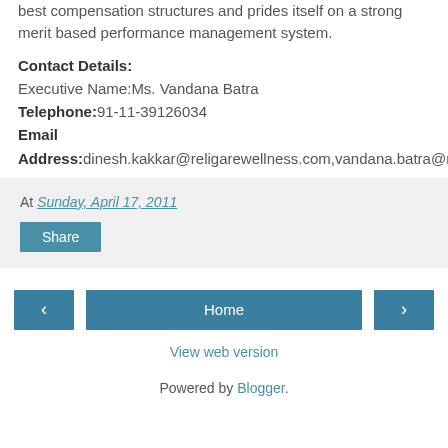best compensation structures and prides itself on a strong merit based performance management system.
Contact Details:
Executive Name:Ms. Vandana Batra
Telephone:91-11-39126034
Email Address:dinesh.kakkar@religarewellness.com,vandana.batra@religarewellness.com
At Sunday, April 17, 2011
Share
< Home >
View web version
Powered by Blogger.